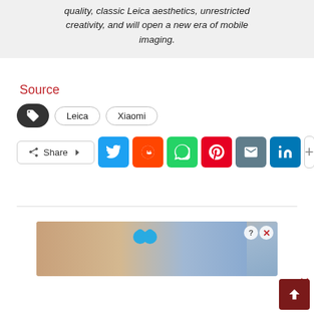quality, classic Leica aesthetics, unrestricted creativity, and will open a new era of mobile imaging.
Source
Leica
Xiaomi
[Figure (screenshot): Social share bar with Share button, Twitter, Reddit, WhatsApp, Pinterest, Email, LinkedIn, and plus buttons]
[Figure (photo): Advertisement banner showing Hold and Move game with two cartoon figures on a wooden surface]